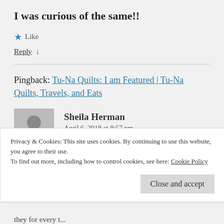I was curious of the same!!
★ Like
Reply ↓
Pingback: Tu-Na Quilts: I am Featured | Tu-Na Quilts, Travels, and Eats
Sheila Herman
April 6, 2018 at 8:57 pm
Privacy & Cookies: This site uses cookies. By continuing to use this website, you agree to their use.
To find out more, including how to control cookies, see here: Cookie Policy
Close and accept
they for every t...